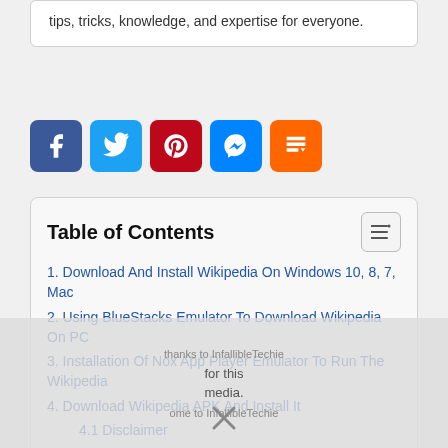tips, tricks, knowledge, and expertise for everyone.
[Figure (infographic): Social sharing icons: Facebook (blue), Twitter (light blue), Pinterest (red), Messenger (blue), Mix (orange)]
Table of Contents
1. Download And Install Wikipedia On Windows 10, 8, 7, Mac
2. Using BlueStacks Emulator To Download Wikipedia On PC
3. Installation Of Nox App Player Emulator To Run The Wikipedia
4. Download Wikipedia APK And Install It
4.1 Disclaimer